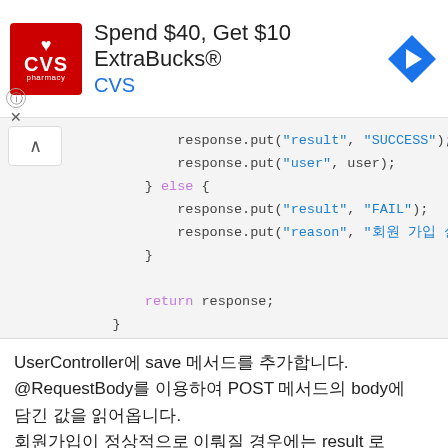[Figure (infographic): CVS Pharmacy advertisement banner: logo (red square with heart, CVS pharmacy text), headline 'Spend $40, Get $10 ExtraBucks®', subtext 'CVS', blue navigation arrow icon on right, info and close controls on lower left.]
response.put("result", "SUCCESS");
            response.put("user", user);
        } else {
            response.put("result", "FAIL");
            response.put("reason", "회원 가입 실패");
        }

        return response;
    }
UserController에 save 메서드를 추가합니다.
@RequestBody를 이용하여 POST 메서드의 body에 담긴 값을 읽어옵니다.
회원가입이 정상적으로 이뤄질 경우에는 result 로 SUCCESS, 그리고 저장된 user도 함께 반환합니다.